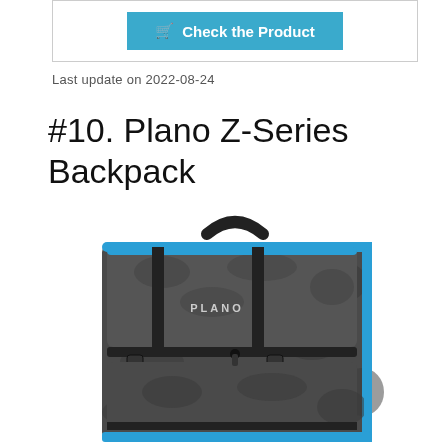[Figure (other): Check the Product button inside a bordered box at the top of the page]
Last update on 2022-08-24
#10. Plano Z-Series Backpack
[Figure (photo): Photo of Plano Z-Series Backpack — dark gray camouflage pattern with blue trim edges and black straps, PLANO logo on front flap]